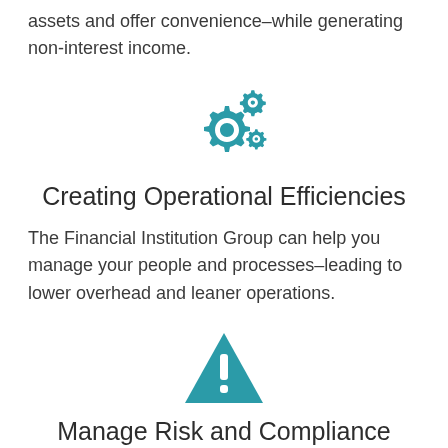assets and offer convenience–while generating non-interest income.
[Figure (illustration): Two teal gear icons representing operational efficiency]
Creating Operational Efficiencies
The Financial Institution Group can help you manage your people and processes–leading to lower overhead and leaner operations.
[Figure (illustration): Teal warning/alert triangle icon with exclamation mark representing risk management]
Manage Risk and Compliance
Reduce your risk with products and services that help financial institutions manage loan portfolio risk and